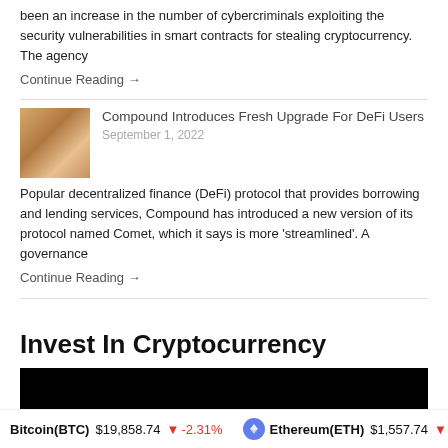been an increase in the number of cybercriminals exploiting the security vulnerabilities in smart contracts for stealing cryptocurrency. The agency
Continue Reading →
Compound Introduces Fresh Upgrade For DeFi Users
September 1, 2022
Popular decentralized finance (DeFi) protocol that provides borrowing and lending services, Compound has introduced a new version of its protocol named Comet, which it says is more 'streamlined'. A governance
Continue Reading →
Invest In Cryptocurrency
[Figure (screenshot): Dark/black video embed block for a cryptocurrency investment video]
Bitcoin(BTC) $19,858.74 ↓ -2.31%    Ethereum(ETH) $1,557.74 ↓